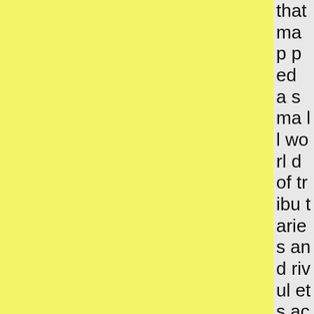that mapped a small world of tributaries and rivulets across the surface. Mike was tired